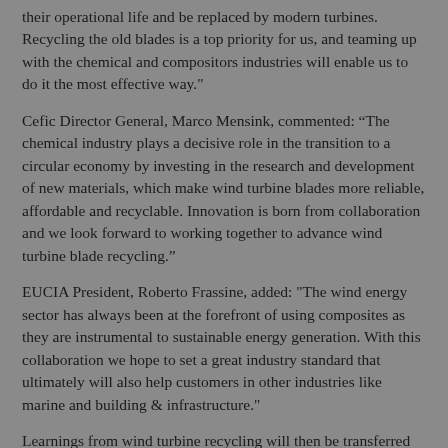their operational life and be replaced by modern turbines. Recycling the old blades is a top priority for us, and teaming up with the chemical and compositors industries will enable us to do it the most effective way."
Cefic Director General, Marco Mensink, commented: “The chemical industry plays a decisive role in the transition to a circular economy by investing in the research and development of new materials, which make wind turbine blades more reliable, affordable and recyclable. Innovation is born from collaboration and we look forward to working together to advance wind turbine blade recycling.”
EUCIA President, Roberto Frassine, added: "The wind energy sector has always been at the forefront of using composites as they are instrumental to sustainable energy generation. With this collaboration we hope to set a great industry standard that ultimately will also help customers in other industries like marine and building & infrastructure."
Learnings from wind turbine recycling will then be transferred to other